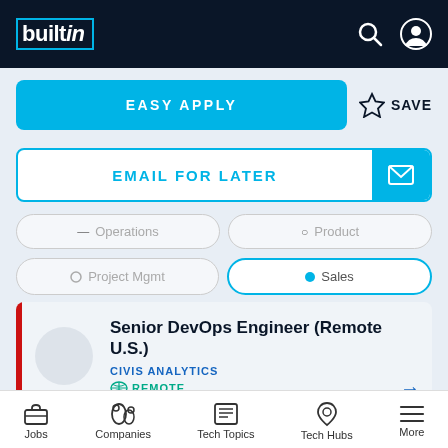[Figure (screenshot): Built In logo in top navigation bar with dark navy background, search and profile icons on right]
EASY APPLY
SAVE
EMAIL FOR LATER
Operations
Product
Project Mgmt
Sales
Senior DevOps Engineer (Remote U.S.)
CIVIS ANALYTICS
REMOTE
Jobs
Companies
Tech Topics
Tech Hubs
More